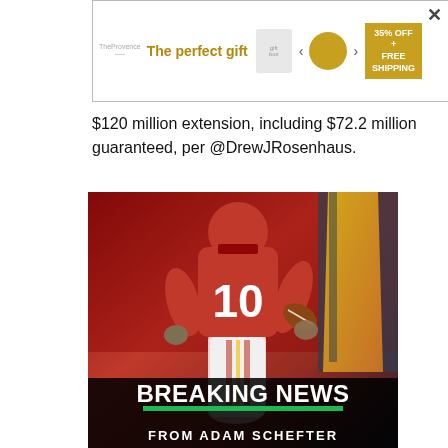[Figure (other): Advertisement banner: 'The perfect gift' with gift/bowl images, navigation arrows, and 35% OFF + FREE SHIPPING offer badge]
$120 million extension, including $72.2 million guaranteed, per @DrewJRosenhaus.
[Figure (photo): Kansas City Chiefs player wearing jersey number 10 running with football, Breaking News from Adam Schefter overlay at bottom]